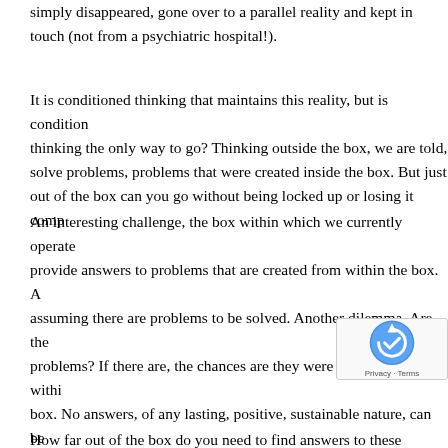simply disappeared, gone over to a parallel reality and kept in touch (not from a psychiatric hospital!).
It is conditioned thinking that maintains this reality, but is conditioned thinking the only way to go? Thinking outside the box, we are told, solve problems, problems that were created inside the box. But just out of the box can you go without being locked up or losing it comp
An interesting challenge, the box within which we currently operate provide answers to problems that are created from within the box. A assuming there are problems to be solved. Another dilemma. Are the problems? If there are, the chances are they were created from withi box. No answers, of any lasting, positive, sustainable nature, can be within the box, it is not the nature of the current box to be rational, l compassionate. Rather, it appears to be just the opposite. Although i contains elements of every imaginable aspect of humanity, unfortun limited, small box, point of view, maintains such a strong perception that reality follows, or fits within, these extre
How far out of the box do you need to go to find answers to these